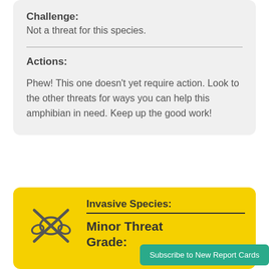Challenge: Not a threat for this species.
Actions: Phew! This one doesn't yet require action. Look to the other threats for ways you can help this amphibian in need. Keep up the good work!
Invasive Species: Minor Threat Grade:
Subscribe to New Report Cards